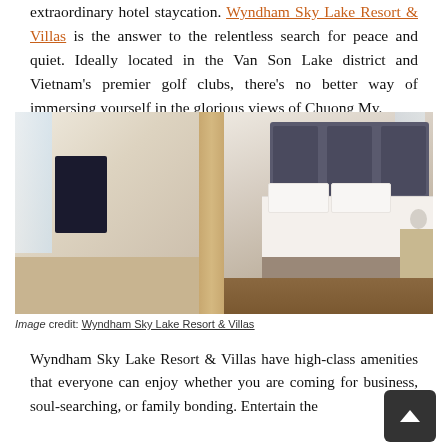extraordinary hotel staycation. Wyndham Sky Lake Resort & Villas is the answer to the relentless search for peace and quiet. Ideally located in the Van Son Lake district and Vietnam's premier golf clubs, there's no better way of immersing yourself in the glorious views of Chuong My.
[Figure (photo): Hotel room interior showing two panels: left side with a wall-mounted TV and wooden desk, right side with a large bed with grey upholstered headboard, white bedding, and wooden nightstand]
Image credit: Wyndham Sky Lake Resort & Villas
Wyndham Sky Lake Resort & Villas have high-class amenities that everyone can enjoy whether you are coming for business, soul-searching, or family bonding. Entertain the